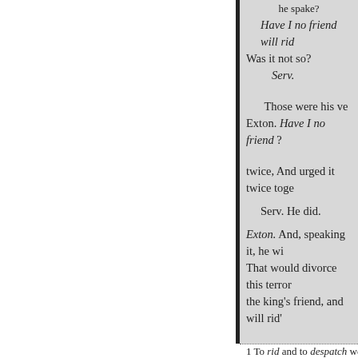he spake? Have I no friend will rid Was it not so? Serv. Those were his ve Exton. Have I no friend twice, And urged it twice toge Serv. He did. Exton. And, speaking it, he wi That would divorce this terror the king's friend, and will rid' SCENE V. Pomfret. The D Enter King Richard. K. Ric unto the world; And, for beca cannot do it ;—yet I'll hamme father; and these two beget A g this little world ; ? In humors,
1 To rid and to despatch we